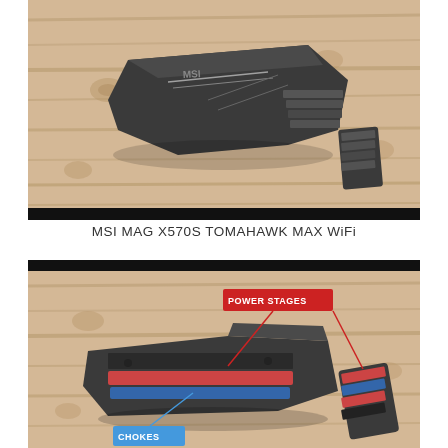[Figure (photo): MSI MAG X570S Tomahawk Max WiFi heatsink components disassembled on a light wood surface. Two dark grey angular heatsink pieces are shown separated, one larger and one smaller.]
MSI MAG X570S TOMAHAWK MAX WiFi
[Figure (photo): Close-up annotated photo of MSI MAG X570S Tomahawk Max WiFi heatsink showing internal components with red label 'POWER STAGES' pointing to the power stage area and blue label 'CHOKES' pointing to choke components at the bottom. The heatsink base with copper heat spreader and choke inductors are visible on a wooden surface.]